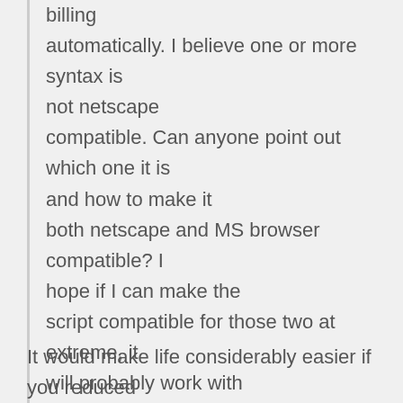billing automatically. I believe one or more syntax is not netscape compatible. Can anyone point out which one it is and how to make it both netscape and MS browser compatible? I hope if I can make the script compatible for those two at extreme, it will probably work with most browser out there. As you would notice, this form also calls another fundtion already implemented in the shopping cart. But that function itself works on both browser.
It would make life considerably easier if you reduced